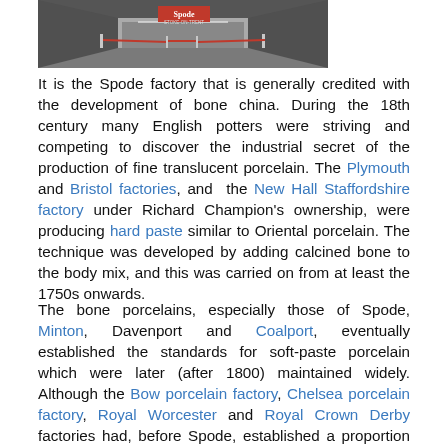[Figure (photo): Interior photo of a building entrance or corridor, with red rope barriers and a red Spode factory sign visible overhead. The image is partially cropped at the top.]
It is the Spode factory that is generally credited with the development of bone china. During the 18th century many English potters were striving and competing to discover the industrial secret of the production of fine translucent porcelain. The Plymouth and Bristol factories, and the New Hall Staffordshire factory under Richard Champion's ownership, were producing hard paste similar to Oriental porcelain. The technique was developed by adding calcined bone to the body mix, and this was carried on from at least the 1750s onwards.
The bone porcelains, especially those of Spode, Minton, Davenport and Coalport, eventually established the standards for soft-paste porcelain which were later (after 1800) maintained widely. Although the Bow porcelain factory, Chelsea porcelain factory, Royal Worcester and Royal Crown Derby factories had, before Spode, established a proportion of about 40–45 per cent calcined bone in the formula as standard, it was Spode who first abandoned the practice of calcining or fritting the bone